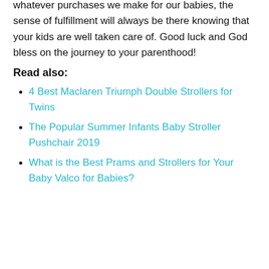not an easy job, but always remember that whatever purchases we make for our babies, the sense of fulfillment will always be there knowing that your kids are well taken care of. Good luck and God bless on the journey to your parenthood!
Read also:
4 Best Maclaren Triumph Double Strollers for Twins
The Popular Summer Infants Baby Stroller Pushchair 2019
What is the Best Prams and Strollers for Your Baby Valco for Babies?